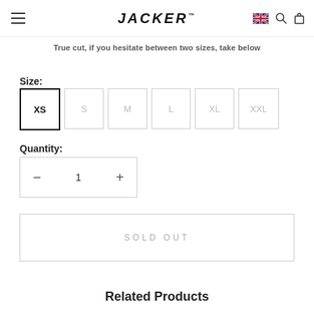JACKER
True cut, if you hesitate between two sizes, take below
Size:
XS  S  M  L  XL  XXL
Quantity:
— 1 +
SOLD OUT
Related Products